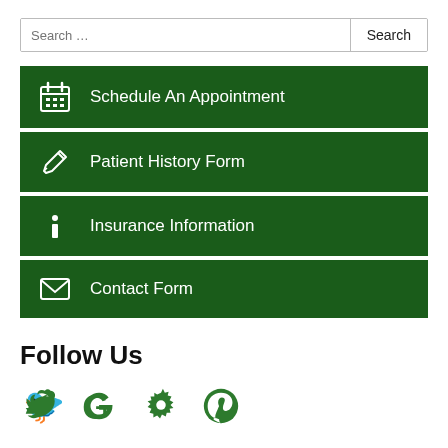Search ...
Schedule An Appointment
Patient History Form
Insurance Information
Contact Form
Follow Us
[Figure (illustration): Four social media icons in green: Twitter bird, Google G, Yelp burst, Pinterest P]